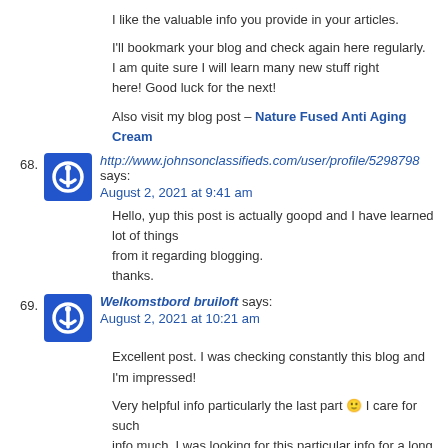I like the valuable info you provide in your articles.
I'll bookmark your blog and check again here regularly. I am quite sure I will learn many new stuff right here! Good luck for the next!
Also visit my blog post – Nature Fused Anti Aging Cream
68. http://www.johnsonclassifieds.com/user/profile/5298798 says:
August 2, 2021 at 9:41 am
Hello, yup this post is actually goopd and I have learned lot of things from it regarding blogging.
thanks.
69. Welkomstbord bruiloft says:
August 2, 2021 at 10:21 am
Excellent post. I was checking constantly this blog and I'm impressed!
Very helpful info particularly the last part 🙂 I care for such info much. I was looking for this particular info for a long time. Thank you and best of luck.
70. TV Mounts says:
August 2, 2021 at 10:54 am
Having read this I believed it was really enlightening.
I appreciate you taking the time and energy to